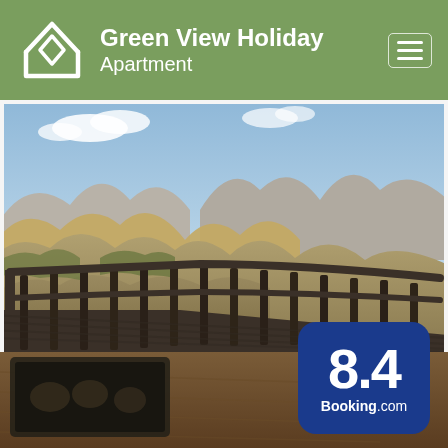Green View Holiday Apartment
[Figure (photo): Mountain landscape viewed from a wooden deck/balcony with grey-brown arid hills in the background and partly cloudy sky]
[Figure (photo): Bottom partial photo showing a wooden table surface with a dark tray]
8.4 Booking.com